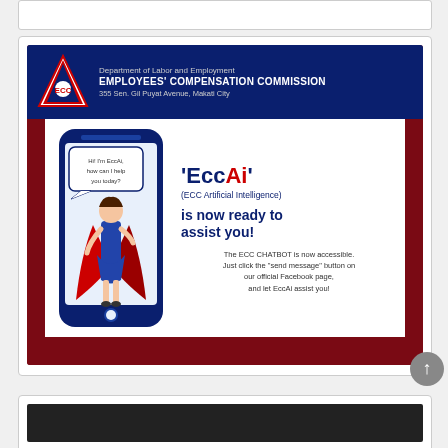[Figure (infographic): ECC (Employees' Compensation Commission) promotional banner for 'EccAi' (ECC Artificial Intelligence) chatbot. Dark blue header with ECC triangle logo, department name and address. White content area showing a smartphone illustration with a female superhero figure and a chatbot speech bubble saying 'Hi! I'm EccAi, how can I help you today?'. Text reads: 'EccAi' (ECC Artificial Intelligence) is now ready to assist you! The ECC CHATBOT is now accessible. Just click the 'send message' button on our official Facebook page, and let EccAi assist you! Dark maroon background.]